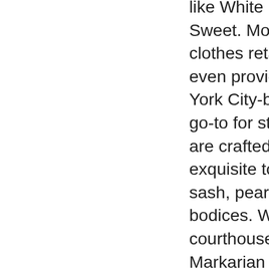like White by Vera Wang, Oleg Cassini, and Melissa Sweet. Most of David's Bridal's marriage ceremony clothes retail for under 2K and their DB Studio assortment even provides attractive clothes for under $200(!!).​New York City-based brand Markarian is rapidly becoming the go-to for stylish brides in the know. Shop designs which are crafted from the best materials and finished with exquisite touches similar to a contrasting gentle blue sash, pearl embellished straps, and expertly draped bodices. Whether you're getting married on the courthouse or within the gardens of a grand estate, Markarian has a dress for you. If you're also here to dig-up some inspiration on your bridal celebration, head over to the bridal celebration part to see a number of attire that will completely complement your personal marriage ceremony day look. Celebrate the holiday season's magical moments in type with all the glint your closet can deal with. From office parties to winter weddings, glam friendsgiving to the NYE ball drop, make an announcement with gorgeously crafted dresses and unique head-to-toe accessories.​Every Grace Loves Lace robe is hand made with love and every of our showrooms seems like home. As the top destination for all issues wedding and events, we develop collections in-house and we don't observe